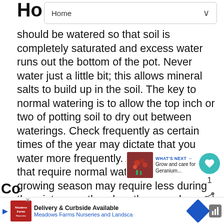Home
should be watered so that soil is completely saturated and excess water runs out the bottom of the pot. Never water just a little bit; this allows mineral salts to build up in the soil. The key to normal watering is to allow the top inch or two of potting soil to dry out between waterings. Check frequently as certain times of the year may dictate that you water more frequently. Also, some plants that require normal watering during the growing season may require less during the winter months when they are dormant.
Co...
[Figure (infographic): WHAT'S NEXT arrow label with thumbnail image of red flowers and text: Grow and care for Geranium...]
[Figure (infographic): Advertisement banner: Meadows Farms Nurseries and Landscape - Delivery & Curbside Available, with logo and blue diamond navigation icon]